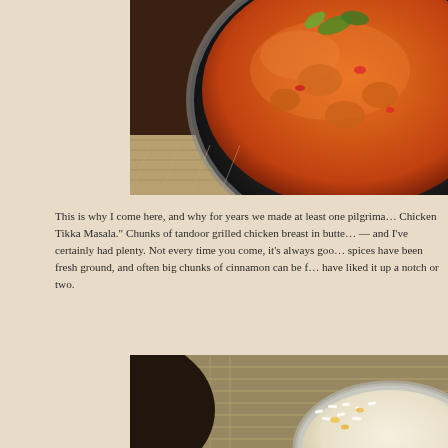[Figure (photo): A close-up photo of Chicken Tikka Masala in a dark bowl — rich orange-red creamy curry sauce with chunks of chicken and garnished with fresh herbs, served on a patterned placemat.]
This is why I come here, and why for years we made at least one pilgrimage... Chicken Tikka Masala.” Chunks of tandoor grilled chicken breast in butter... — and I’ve certainly had plenty. Not every time you come, it’s always goo... spices have been fresh ground, and often big chunks of cinnamon can be f... have liked it up a notch or two.
[Figure (photo): A partial photo of what appears to be a dark bowl and a silver bowl containing rice with colorful garnish, on a patterned placemat — likely basmati rice with saffron or similar Indian accompaniment.]